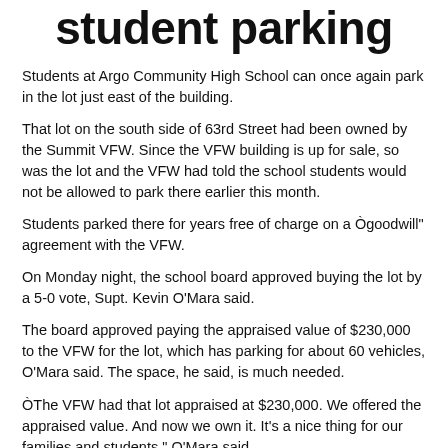student parking
Students at Argo Community High School can once again park in the lot just east of the building.
That lot on the south side of 63rd Street had been owned by the Summit VFW. Since the VFW building is up for sale, so was the lot and the VFW had told the school students would not be allowed to park there earlier this month.
Students parked there for years free of charge on a Ògoodwill" agreement with the VFW.
On Monday night, the school board approved buying the lot by a 5-0 vote, Supt. Kevin O'Mara said.
The board approved paying the appraised value of $230,000 to the VFW for the lot, which has parking for about 60 vehicles, O'Mara said. The space, he said, is much needed.
ÒThe VFW had that lot appraised at $230,000. We offered the appraised value. And now we own it. It's a nice thing for our families and students," O'Mara said.